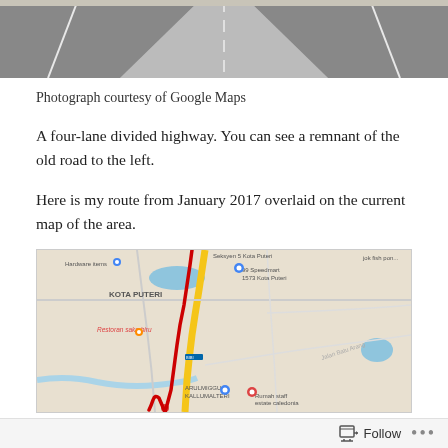[Figure (photo): Top portion of a photograph showing a four-lane divided highway road surface with dashed white lane markings, taken from ground level.]
Photograph courtesy of Google Maps
A four-lane divided highway. You can see a remnant of the old road to the left.
Here is my route from January 2017 overlaid on the current map of the area.
[Figure (map): A Google Maps screenshot showing the Kota Puteri area with a route from January 2017 overlaid in red/orange on the current road map. The map shows locations including KOTA PUTERI, Hardware items, 99 Speedmart 1573 Kota Puteri, Restoran saka biru, ARULMIGGU KALLUMALTERI, Rumah staff estate caledonia, and Jok fish pond. A red route line overlays a yellow highway road.]
Follow